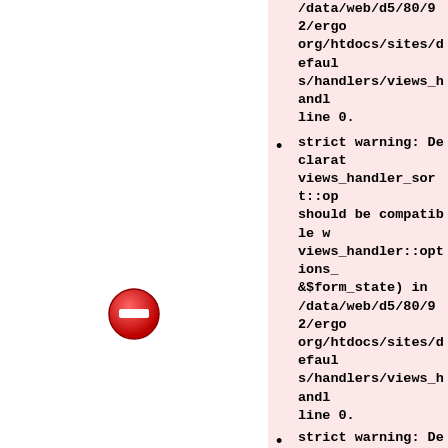/data/web/d5/80/92/ergo org/htdocs/sites/defaults/handlers/views_handl line 0.
strict warning: Declaration views_handler_sort::op should be compatible with views_handler::options_form(&$form_state) in /data/web/d5/80/92/ergo org/htdocs/sites/defaults/handlers/views_handl line 0.
strict warning: Declaration views_handler_sort::qu compatible with views_handler::query($reset = false) in /data/web/d5/80/92/ergo org/htdocs/sites/defaults/handlers/views_handl line 0.
strict warning: Declarat